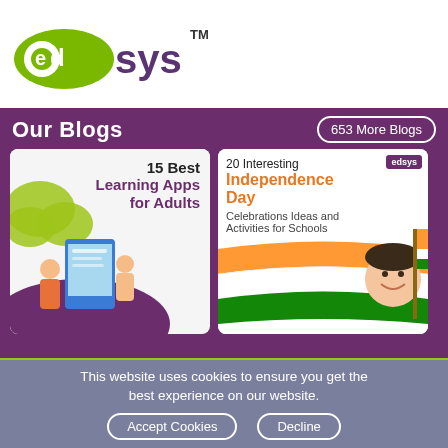[Figure (logo): Edsys logo - green 'ed' in circle/pill shape, 'sys' in dark color, TM mark]
Our Blogs
653 More Blogs
[Figure (illustration): Blog card: 15 Best Learning Apps for Adults - illustration with person and mobile device]
[Figure (photo): Blog card: 20 Interesting Independence Day Celebrations Ideas and Activities for Schools - child with Indian flag]
Explore Our Extensive Researched Educational App Directory
This website uses cookies to ensure you get the best experience on our website.
Accept Cookies
Decline